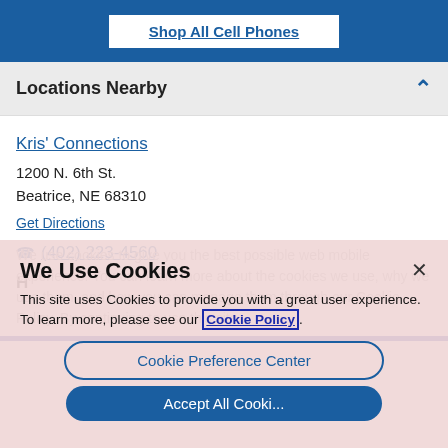Shop All Cell Phones
Locations Nearby
Kris' Connections
1200 N. 6th St.
Beatrice, NE 68310
Get Directions
(402) 223-4560
Hours
We Use Cookies
This site uses Cookies to provide you with a great user experience. To learn more, please see our Cookie Policy
Cookie Preference Center
Accept All Cookies